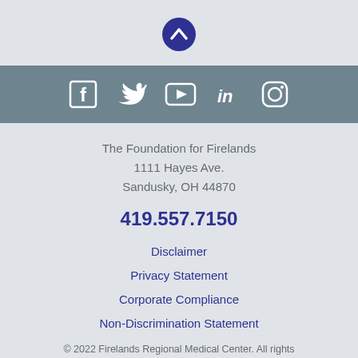[Figure (illustration): Dark navy circular button with white upward chevron/caret arrow icon (scroll to top button)]
[Figure (illustration): Social media icons bar on grey-blue background: Facebook, Twitter, YouTube, LinkedIn, Instagram icons in white]
The Foundation for Firelands
1111 Hayes Ave.
Sandusky, OH 44870
419.557.7150
Disclaimer
Privacy Statement
Corporate Compliance
Non-Discrimination Statement
© 2022 Firelands Regional Medical Center. All rights